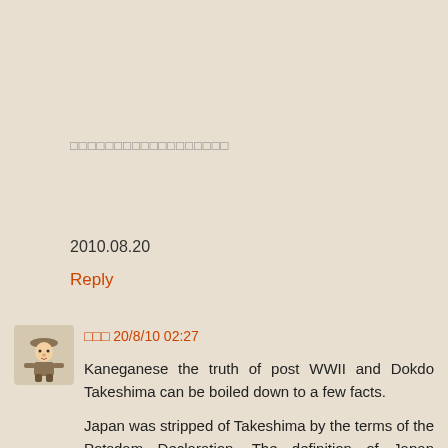□□□□□□□□□□□□□□□□□□
2010.08.20
Reply
□□□ 20/8/10 02:27
Kaneganese the truth of post WWII and Dokdo Takeshima can be boiled down to a few facts.
Japan was stripped of Takeshima by the terms of the Potsdam Declaration. The definition of Japan excluded